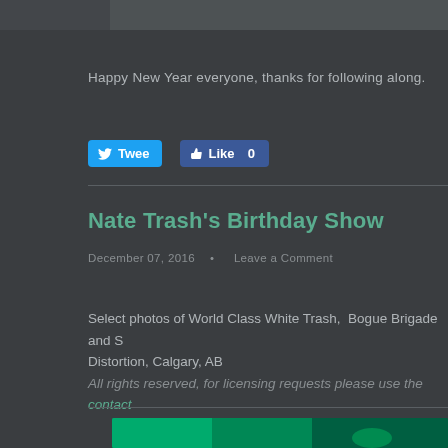[Figure (photo): Top partial photo, dark background image cropped at top]
Happy New Year everyone, thanks for following along.
[Figure (screenshot): Tweet button (blue, Twitter bird icon) and Like 0 button (Facebook blue, thumbs up icon)]
Nate Trash's Birthday Show
December 07, 2016  •  Leave a Comment
Select photos of World Class White Trash, Bogue Brigade and S... Distortion, Calgary, AB
All rights reserved, for licensing requests please use the contact
[Figure (photo): Bottom partial photo with green lighting, concert scene]